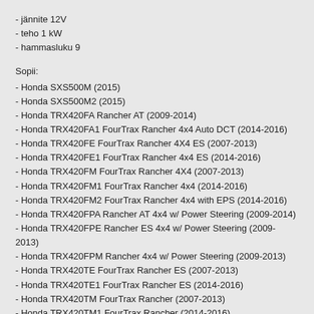- jännite 12V
- teho 1 kW
- hammasluku 9
Sopii:
- Honda SXS500M (2015)
- Honda SXS500M2 (2015)
- Honda TRX420FA Rancher AT (2009-2014)
- Honda TRX420FA1 FourTrax Rancher 4x4 Auto DCT (2014-2016)
- Honda TRX420FE FourTrax Rancher 4X4 ES (2007-2013)
- Honda TRX420FE1 FourTrax Rancher 4x4 ES (2014-2016)
- Honda TRX420FM FourTrax Rancher 4X4 (2007-2013)
- Honda TRX420FM1 FourTrax Rancher 4x4 (2014-2016)
- Honda TRX420FM2 FourTrax Rancher 4x4 with EPS (2014-2016)
- Honda TRX420FPA Rancher AT 4x4 w/ Power Steering (2009-2014)
- Honda TRX420FPE Rancher ES 4x4 w/ Power Steering (2009-2013)
- Honda TRX420FPM Rancher 4x4 w/ Power Steering (2009-2013)
- Honda TRX420TE FourTrax Rancher ES (2007-2013)
- Honda TRX420TE1 FourTrax Rancher ES (2014-2016)
- Honda TRX420TM FourTrax Rancher (2007-2013)
- Honda TRX420TM1 FourTrax Rancher (2014-2016)
- Honda TRX500FA FourTrax Foreman Rubicon (2015-2016)
- Honda TRX500FE FourTrax Foreman 4x4 ES (2012-2016)
- Honda TRX500FE1 FourTrax Foreman 4x4 ES (2014-2016)
- Honda TRX500FE2 FourTrax Foreman 4x4 ES with EPS (2014)
- Honda TRX500FM FourTrax Foreman 4x4 (2012-2016)
- Honda TRX500FM1 FourTrax Foreman 4x4 (2014-2016)
- Honda TRX500FM2 FourTrax Foreman 4x4 with EPS (2014-2016)
- Honda TRX500FPE FourTrax Foreman 4x4 ES w/ Power Steering